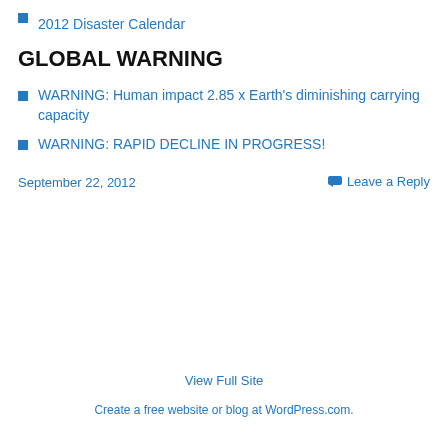2012 Disaster Calendar
GLOBAL WARNING
WARNING: Human impact 2.85 x Earth's diminishing carrying capacity
WARNING: RAPID DECLINE IN PROGRESS!
September 22, 2012
Leave a Reply
View Full Site
Create a free website or blog at WordPress.com.